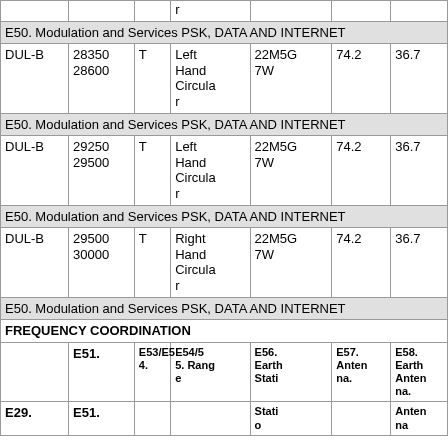|  |  | r |  |  |  |  |
| E50. Modulation and Services PSK, DATA AND INTERNET |  |  |  |  |  |  |
| DUL-B | 28350
28600 | T | Left Hand Circular | 22M5G 7W | 74.2 | 36.7 |
| E50. Modulation and Services PSK, DATA AND INTERNET |  |  |  |  |  |  |
| DUL-B | 29250
29500 | T | Left Hand Circular | 22M5G 7W | 74.2 | 36.7 |
| E50. Modulation and Services PSK, DATA AND INTERNET |  |  |  |  |  |  |
| DUL-B | 29500
30000 | T | Right Hand Circular | 22M5G 7W | 74.2 | 36.7 |
| E50. Modulation and Services PSK, DATA AND INTERNET |  |  |  |  |  |  |
| FREQUENCY COORDINATION |  |  |  |  |  |  |
| E29. | E51. | E53/E54. | E54/55. Range | E56. Earth Stati | E57. Antenna | E58. Earth | E59. Antenna | E60. Maximum |